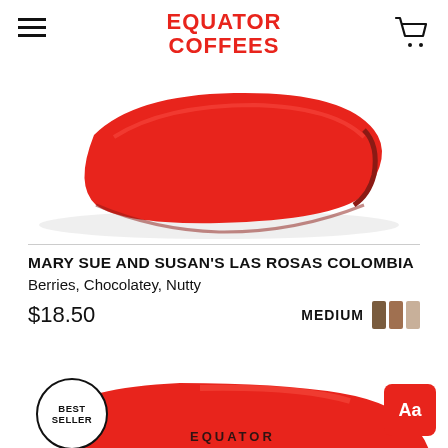EQUATOR COFFEES
[Figure (photo): Red flat lay coffee bag seen from above at an angle, on white background]
MARY SUE AND SUSAN'S LAS ROSAS COLOMBIA
Berries, Chocolatey, Nutty
$18.50  MEDIUM
[Figure (photo): Best Seller badge (circle with BEST SELLER text) overlaid on red Equator Coffees bag, bottom half of page]